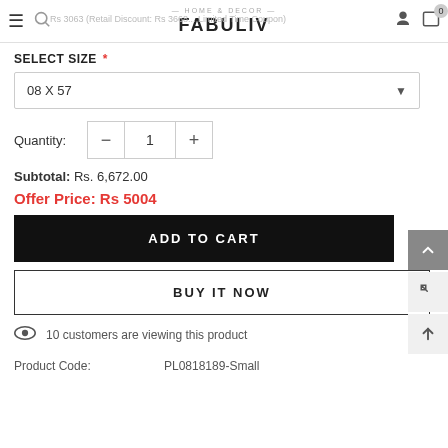Rs 3063 (Retail Discount: Rs 3668... Limited Time Coupon) — HOME & DECOR FABULIV — 0
SELECT SIZE *
08 X 57
Quantity: 1
Subtotal: Rs. 6,672.00
Offer Price: Rs 5004
ADD TO CART
BUY IT NOW
10 customers are viewing this product
Product Code:  PL0818189-Small